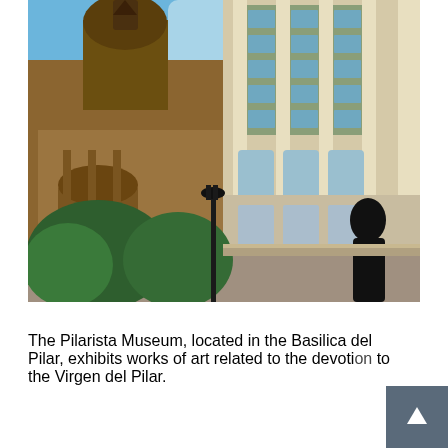[Figure (photo): Street-level photograph showing a historic church building with a dome on the left and a tall neoclassical modern building with columns and windows on the right, with trees in the foreground, a street lamp, and a silhouetted figure. Blue sky visible in the background. Located near the Basilica del Pilar in Zaragoza, Spain.]
The Pilarista Museum, located in the Basilica del Pilar, exhibits works of art related to the devotion to the Virgen del Pilar.